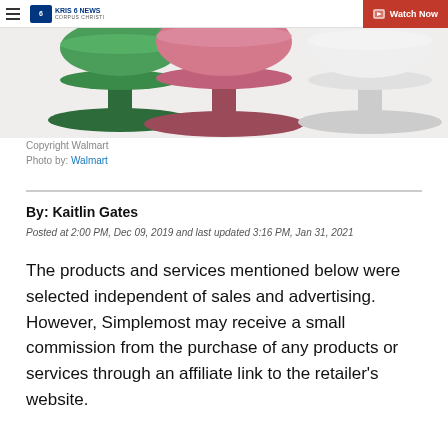KRIS 6 NEWS CORPUS CHRISTI | Watch Now
[Figure (photo): Three decorative cake stands in green, pink/rose, and white colors shown from below on a light background]
Copyright Walmart
Photo by: Walmart
By: Kaitlin Gates
Posted at 2:00 PM, Dec 09, 2019 and last updated 3:16 PM, Jan 31, 2021
The products and services mentioned below were selected independent of sales and advertising. However, Simplemost may receive a small commission from the purchase of any products or services through an affiliate link to the retailer's website.